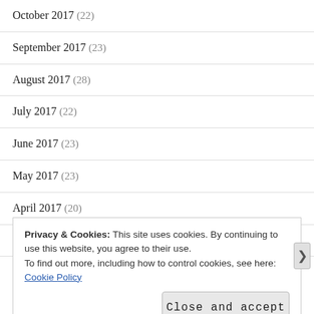October 2017 (22)
September 2017 (23)
August 2017 (28)
July 2017 (22)
June 2017 (23)
May 2017 (23)
April 2017 (20)
March 2017 (23)
Privacy & Cookies: This site uses cookies. By continuing to use this website, you agree to their use.
To find out more, including how to control cookies, see here:
Cookie Policy
Close and accept